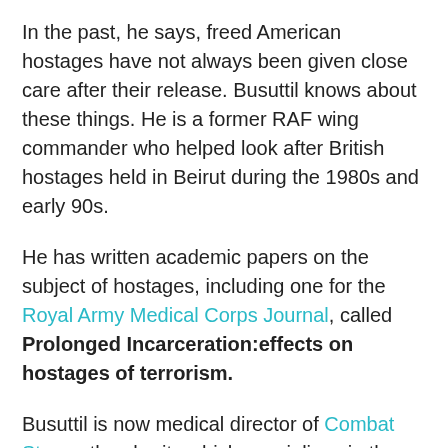In the past, he says, freed American hostages have not always been given close care after their release. Busuttil knows about these things. He is a former RAF wing commander who helped look after British hostages held in Beirut during the 1980s and early 90s.
He has written academic papers on the subject of hostages, including one for the Royal Army Medical Corps Journal, called Prolonged Incarceration:effects on hostages of terrorism.
Busuttil is now medical director of Combat Stress, the charity which specialises in the mental health care of former members of the armed forces.
With the Beirut hostages, the British hostages